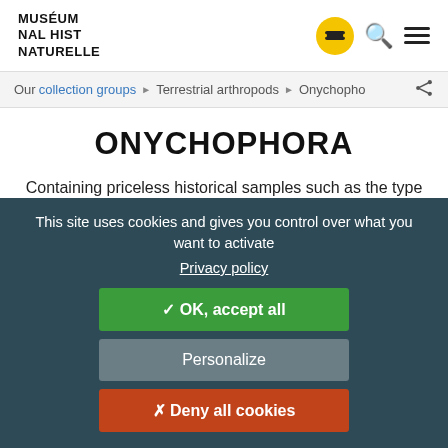MUSÉUM NAL HIST NATURELLE
Our collection groups ▶ Terrestrial arthropods ▶ Onychophora
ONYCHOPHORA
Containing priceless historical samples such as the type specimens described by Bouvier in the 1900s, the Muséum's collection of Onychophora (also known as Peripatus or velvet worms) is
This site uses cookies and gives you control over what you want to activate
Privacy policy
✓ OK, accept all
Personalize
✗ Deny all cookies